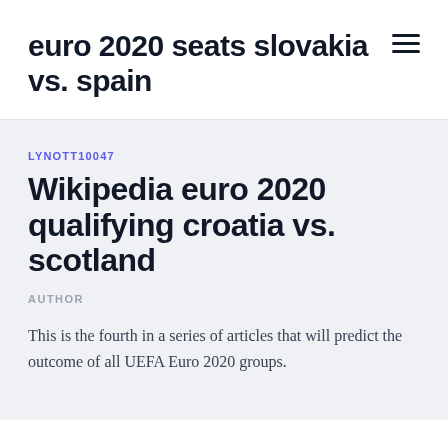euro 2020 seats slovakia vs. spain
LYNOTT10047
Wikipedia euro 2020 qualifying croatia vs. scotland
AUTHOR
This is the fourth in a series of articles that will predict the outcome of all UEFA Euro 2020 groups.